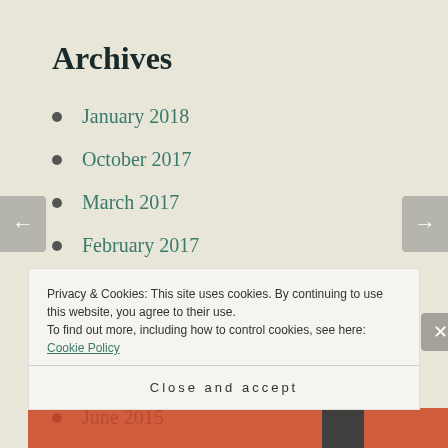Archives
January 2018
October 2017
March 2017
February 2017
October 2016
September 2016
December 2015
June 2015
May 2015
Privacy & Cookies: This site uses cookies. By continuing to use this website, you agree to their use.
To find out more, including how to control cookies, see here: Cookie Policy
Close and accept